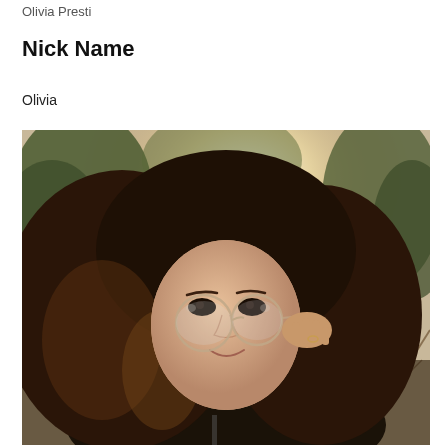Olivia Presti
Nick Name
Olivia
[Figure (photo): A young woman with long wavy dark brown hair, wearing round wire-framed glasses that she is holding with one hand, smiling slightly. She is wearing a dark jacket. The background shows trees and bright sunlight filtering through.]